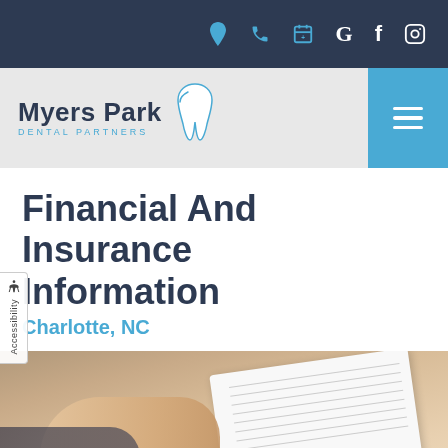Navigation icon bar with location, phone, calendar, Google, Facebook, Instagram icons
[Figure (logo): Myers Park Dental Partners logo with tooth graphic]
Financial And Insurance Information
Charlotte, NC
[Figure (photo): Photo of a person writing in a notebook/form, viewed from above]